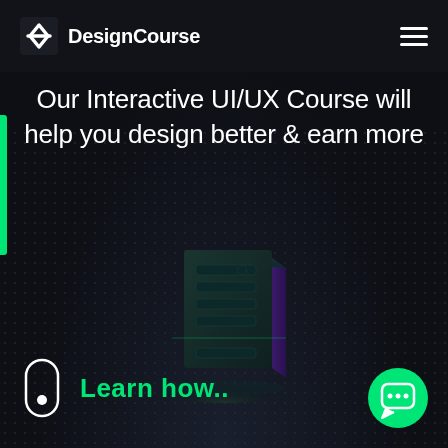DesignCourse
Our Interactive UI/UX Course will help you design better & earn more
[Figure (illustration): 3D dark teal and purple UI/UX design icon — a stylized smartphone/tablet form with glowing green neon horizontal bar, floating above a dark dot-grid surface]
Learn how..